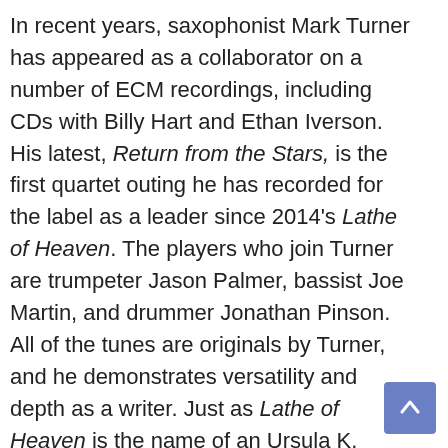In recent years, saxophonist Mark Turner has appeared as a collaborator on a number of ECM recordings, including CDs with Billy Hart and Ethan Iverson. His latest, Return from the Stars, is the first quartet outing he has recorded for the label as a leader since 2014's Lathe of Heaven. The players who join Turner are trumpeter Jason Palmer, bassist Joe Martin, and drummer Jonathan Pinson. All of the tunes are originals by Turner, and he demonstrates versatility and depth as a writer. Just as Lathe of Heaven is the name of an Ursula K. LeGuin novel, Return from the Stars references a totemic sci-fi book by Stanislav Lem. There are no electronics or sci-fi effects that suggest spaciness, but the solos of the winds and freely flowing rhythm section suggest music that aloft